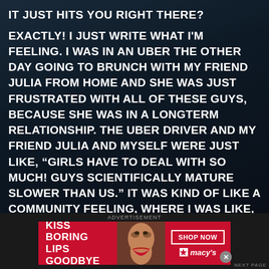IT JUST HITS YOU RIGHT THERE?
EXACTLY! I JUST WRITE WHAT I'M FEELING. I WAS IN AN UBER THE OTHER DAY GOING TO BRUNCH WITH MY FRIEND JULIA FROM HOME AND SHE WAS JUST FRUSTRATED WITH ALL OF THESE GUYS, BECAUSE SHE WAS IN A LONGTERM RELATIONSHIP. THE UBER DRIVER AND MY FRIEND JULIA AND MYSELF WERE JUST LIKE, “GIRLS HAVE TO DEAL WITH SO MUCH! GUYS SCIENTIFICALLY MATURE SLOWER THAN US.” IT WAS KIND OF LIKE A COMMUNITY FEELING, WHERE I WAS LIKE, “YOU’RE NOT ALONE!” SO JUST REAL INSTANCES. I TAKE THOS
[Figure (other): Macy's advertisement banner: 'KISS BORING LIPS GOODBYE' with a woman's face showing red lips, SHOP NOW button, and Macy's logo with star]